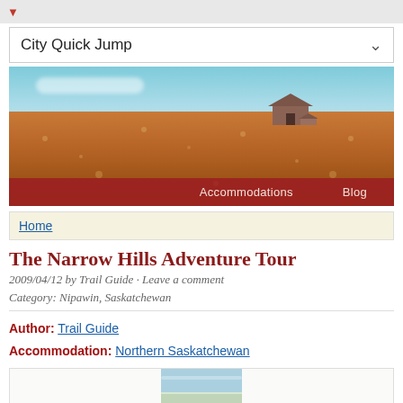City Quick Jump
[Figure (photo): Prairie landscape with wheat/grain field in warm tones and barn in background under blue sky; navigation bar overlay at bottom showing Accommodations and Blog links]
Home
The Narrow Hills Adventure Tour
2009/04/12 by Trail Guide · Leave a comment
Category: Nipawin, Saskatchewan
Author: Trail Guide
Accommodation: Northern Saskatchewan
[Figure (photo): Partial preview of an image at bottom of page showing sky and landscape]